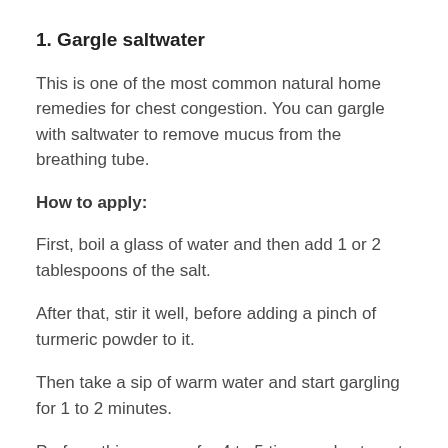1. Gargle saltwater
This is one of the most common natural home remedies for chest congestion. You can gargle with saltwater to remove mucus from the breathing tube.
How to apply:
First, boil a glass of water and then add 1 or 2 tablespoons of the salt.
After that, stir it well, before adding a pinch of turmeric powder to it.
Then take a sip of warm water and start gargling for 1 to 2 minutes.
Perform this process for 4 to 5 times a day to get good